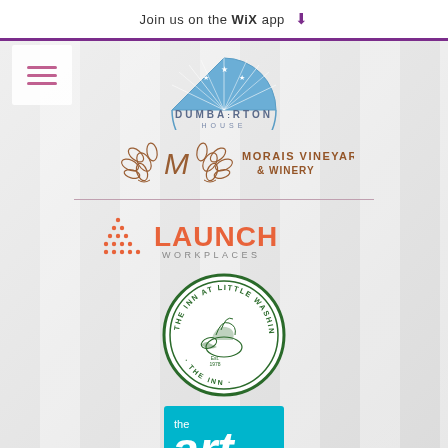Join us on the WiX app ⬇
[Figure (logo): Dumbarton House logo - blue fan/sunburst shape with stars and 'DUMBARTON HOUSE' text]
[Figure (logo): Morais Vineyards & Winery logo - ornate M with laurel wreath]
[Figure (logo): Launch Workplaces logo - orange dots pattern with LAUNCH WORKPLACES text]
[Figure (logo): The Inn at Little Washington circular seal logo in green]
[Figure (logo): The Art League logo - cyan/teal square with 'the art league' text]